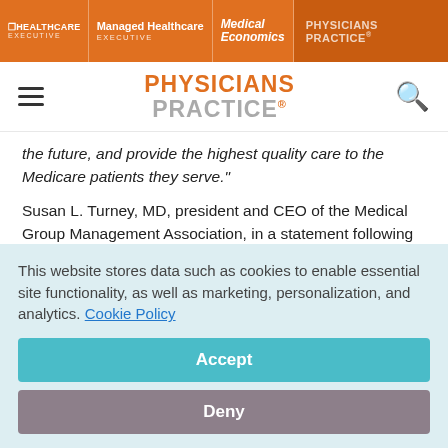HEALTHCARE EXECUTIVE | Managed Healthcare EXECUTIVE | Medical Economics | PHYSICIANS PRACTICE
PHYSICIANS PRACTICE
the future, and provide the highest quality care to the Medicare patients they serve."
Susan L. Turney, MD, president and CEO of the Medical Group Management Association, in a statement following the Congressional decision to delay the Medicare pay cut, under the sustainable growth rate formula, until 2014.
This website stores data such as cookies to enable essential site functionality, as well as marketing, personalization, and analytics. Cookie Policy
Accept
Deny